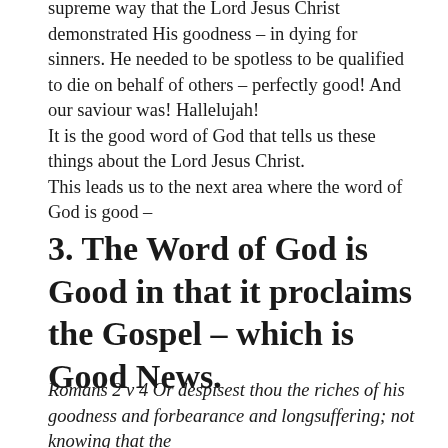supreme way that the Lord Jesus Christ demonstrated His goodness – in dying for sinners. He needed to be spotless to be qualified to die on behalf of others – perfectly good! And our saviour was! Hallelujah!
It is the good word of God that tells us these things about the Lord Jesus Christ.
This leads us to the next area where the word of God is good –
3. The Word of God is Good in that it proclaims the Gospel – which is Good News.
Romans 2 v 4 Or despisest thou the riches of his goodness and forbearance and longsuffering; not knowing that the goodness of God leadeth thee to...